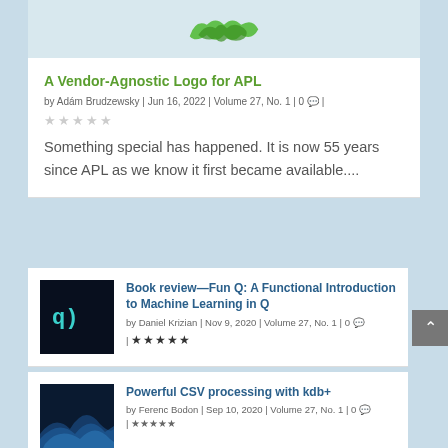[Figure (logo): Partial APL vendor-agnostic logo in green, showing wave/swoosh shapes at the top of the page]
A Vendor-Agnostic Logo for APL
by Adám Brudzewsky | Jun 16, 2022 | Volume 27, No. 1 | 0 💬 |
★★★★★ (star rating row)
Something special has happened. It is now 55 years since APL as we know it first became available....
[Figure (screenshot): Book cover thumbnail for Fun Q: dark background with 'q)' text in blue/teal]
Book review—Fun Q: A Functional Introduction to Machine Learning in Q
by Daniel Krizian | Nov 9, 2020 | Volume 27, No. 1 | 0 💬 | ★★★★★
[Figure (photo): Blue abstract wave thumbnail for Powerful CSV processing with kdb+ article]
Powerful CSV processing with kdb+
by Ferenc Bodon | Sep 10, 2020 | Volume 27, No. 1 | 0 💬 | ★★★★★